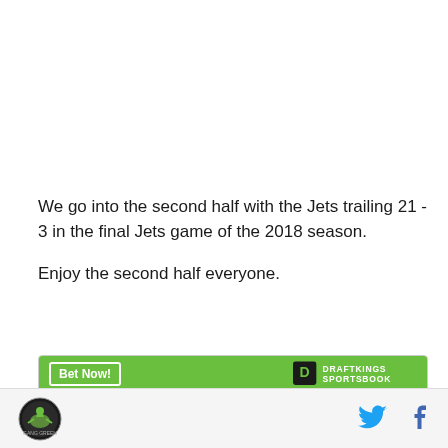We go into the second half with the Jets trailing 21 - 3 in the final Jets game of the 2018 season.
Enjoy the second half everyone.
[Figure (other): DraftKings Sportsbook advertisement widget with green header, 'Bet Now!' button, DraftKings logo, and 'Elijah Moore' as featured bet]
Footer with site logo and social media icons (Twitter, Facebook)